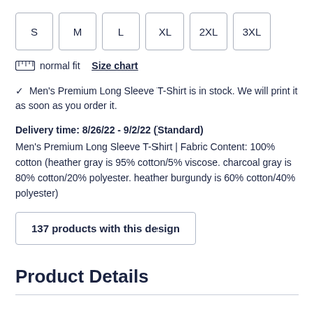S
M
L
XL
2XL
3XL
normal fit  Size chart
✓ Men's Premium Long Sleeve T-Shirt is in stock. We will print it as soon as you order it.
Delivery time: 8/26/22 - 9/2/22 (Standard)
Men's Premium Long Sleeve T-Shirt | Fabric Content: 100% cotton (heather gray is 95% cotton/5% viscose. charcoal gray is 80% cotton/20% polyester. heather burgundy is 60% cotton/40% polyester)
137 products with this design
Product Details